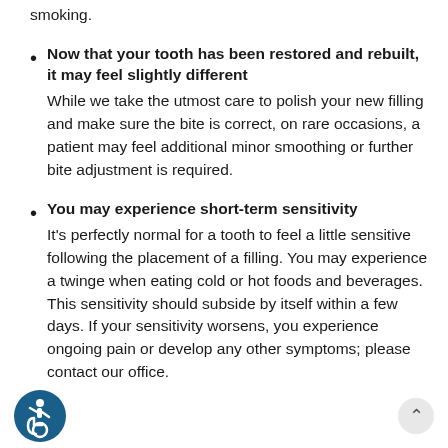smoking.
Now that your tooth has been restored and rebuilt, it may feel slightly different — While we take the utmost care to polish your new filling and make sure the bite is correct, on rare occasions, a patient may feel additional minor smoothing or further bite adjustment is required.
You may experience short-term sensitivity — It's perfectly normal for a tooth to feel a little sensitive following the placement of a filling. You may experience a twinge when eating cold or hot foods and beverages. This sensitivity should subside by itself within a few days. If your sensitivity worsens, you experience ongoing pain or develop any other symptoms; please contact our office.
[Figure (illustration): Accessibility icon — blue circle with white wheelchair user symbol]